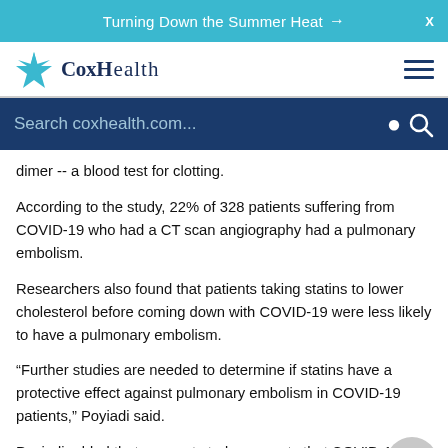Turning Down the Summer Heat →
[Figure (logo): CoxHealth logo with star/compass icon and text]
Search coxhealth.com...
dimer -- a blood test for clotting.
According to the study, 22% of 328 patients suffering from COVID-19 who had a CT scan angiography had a pulmonary embolism.
Researchers also found that patients taking statins to lower cholesterol before coming down with COVID-19 were less likely to have a pulmonary embolism.
“Further studies are needed to determine if statins have a protective effect against pulmonary embolism in COVID-19 patients,” Poyiadi said.
Poyiadi added that a recent study suggests that COVID-19 patients should be placed on blood thinners to prevent...